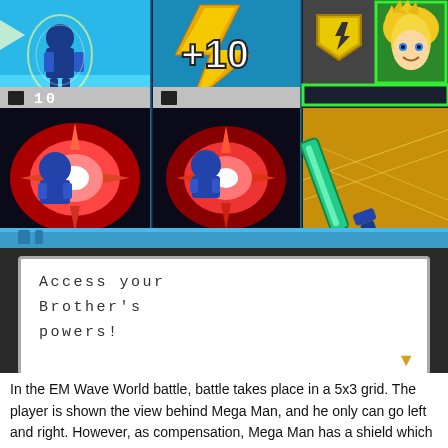[Figure (screenshot): Game UI screenshot showing a battle scene from Mega Man Star Force. Three columns display: (1) Mega Man character on blue background with counter '10', (2) a +10 chip with lightning bolt on yellow/blue background, (3) a badge icon and blonde character portrait in green border. Bottom row shows two explosion chip artworks and a green sword artwork.]
[Figure (screenshot): Dialog box with monospace text reading: Access your Brother's powers!]
In the EM Wave World battle, battle takes place in a 5x3 grid. The player is shown the view behind Mega Man, and he only can go left and right. However, as compensation, Mega Man has a shield which he could block some attacks, as well as the ability to lock-on, serving as the only method to get close to enemies. As with Battle Network, Mega Man can use the Mega Buster either in rapid fire or